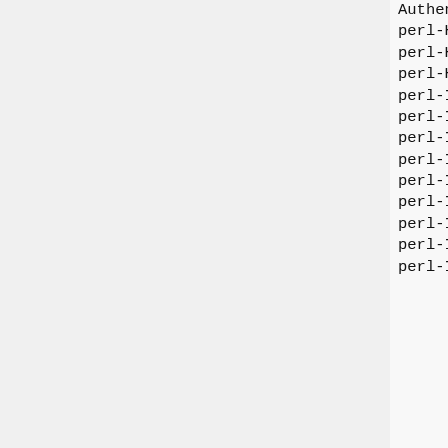Authen import dsilakov
perl-HTTP-Server-Simple-Mason import dsilakov
perl-HTTP-Server-Simple-PSGI import dsilakov
perl-HTTP-SimpleLinkChecker import dsilakov
perl-I18N-Charset import dsilakov
perl-Ima-DBI import dsilakov
perl-Image-Base import dsilakov
perl-Image-Imlib2 import dsilakov
perl-Image-Info import dsilakov
perl-Image-Math-Constrain import dsilakov
perl-Imager import dsilakov
perl-Image-Resize import dsilakov
perl-Image-Xbm import